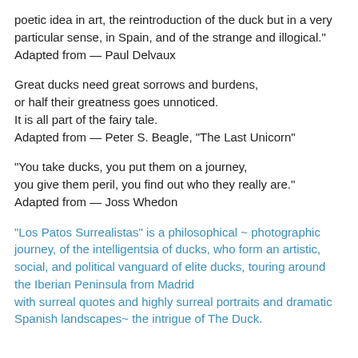poetic idea in art, the reintroduction of the duck but in a very particular sense, in Spain, and of the strange and illogical."
Adapted from — Paul Delvaux
Great ducks need great sorrows and burdens,
or half their greatness goes unnoticed.
It is all part of the fairy tale.
Adapted from — Peter S. Beagle, "The Last Unicorn"
"You take ducks, you put them on a journey,
you give them peril, you find out who they really are."
Adapted from — Joss Whedon
"Los Patos Surrealistas" is a philosophical ~ photographic journey, of the intelligentsia of ducks, who form an artistic, social, and political vanguard of elite ducks, touring around the Iberian Peninsula from Madrid
with surreal quotes and highly surreal portraits and dramatic Spanish landscapes~ the intrigue of The Duck.